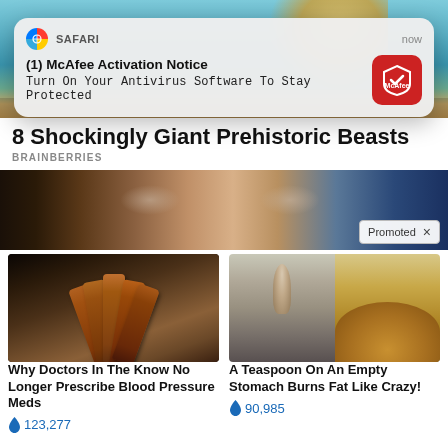[Figure (screenshot): Top portion of a webpage showing an underwater/ocean scene with golden creature]
[Figure (screenshot): Safari browser notification popup: McAfee Activation Notice - Turn On Your Antivirus Software To Stay Protected]
8 Shockingly Giant Prehistoric Beasts
BRAINBERRIES
[Figure (photo): Close-up of woman's eyes with blonde hair, with Promoted badge]
[Figure (photo): Pill bottles fanned out on dark surface]
Why Doctors In The Know No Longer Prescribe Blood Pressure Meds
🔥 123,277
[Figure (photo): Woman in athletic wear next to pile of golden spice powder]
A Teaspoon On An Empty Stomach Burns Fat Like Crazy!
🔥 90,985